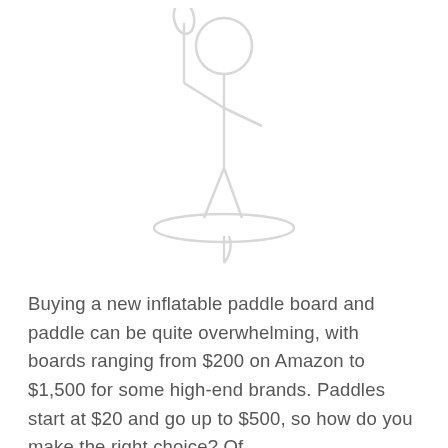[Figure (illustration): Faint watermark-style illustration of a person standing on a paddleboard holding a paddle, rendered in very light gray outline on white background]
Buying a new inflatable paddle board and paddle can be quite overwhelming, with boards ranging from $200 on Amazon to $1,500 for some high-end brands. Paddles start at $20 and go up to $500, so how do you make the right choice? Of